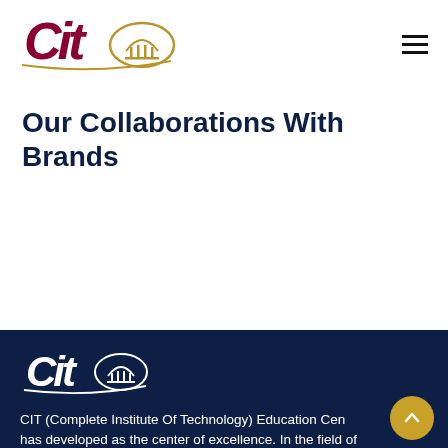[Figure (logo): CIT (Complete Institute of Technology) logo with stylized text and building emblem in dark red and gold, on white background]
Our Collaborations With Brands
[Figure (logo): CIT logo in white on dark navy background]
CIT (Complete Institute Of Technology) Education Center has developed as the center of excellence. In the field of